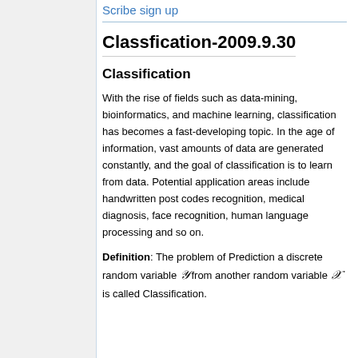Scribe sign up
Classfication-2009.9.30
Classification
With the rise of fields such as data-mining, bioinformatics, and machine learning, classification has becomes a fast-developing topic. In the age of information, vast amounts of data are generated constantly, and the goal of classification is to learn from data. Potential application areas include handwritten post codes recognition, medical diagnosis, face recognition, human language processing and so on.
Definition: The problem of Prediction a discrete random variable Y from another random variable X is called Classification.